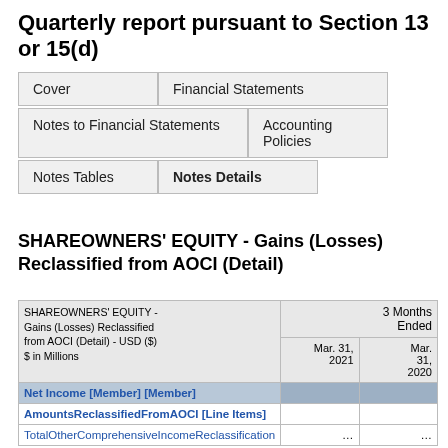Quarterly report pursuant to Section 13 or 15(d)
Cover
Financial Statements
Notes to Financial Statements
Accounting Policies
Notes Tables
Notes Details
SHAREOWNERS' EQUITY - Gains (Losses) Reclassified from AOCI (Detail)
| SHAREOWNERS' EQUITY - Gains (Losses) Reclassified from AOCI (Detail) - USD ($) $ in Millions | 3 Months Ended |  |
| --- | --- | --- |
|  | Mar. 31, 2021 | Mar. 31, 2020 |
| Net Income [Member] [Member] |  |  |
| AmountsReclassifiedFromAOCI [Line Items] |  |  |
| TotalOtherComprehensiveIncomeReclassification | ... | ... |